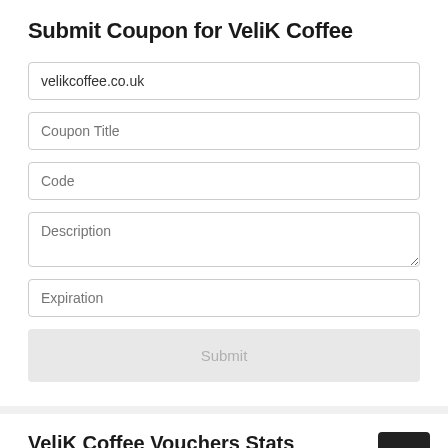Submit Coupon for VeliK Coffee
velikcoffee.co.uk
Coupon Title
Code
Description
Expiration
Submit
VeliK Coffee Vouchers Stats
|  |  |
| --- | --- |
| Total | 13 |